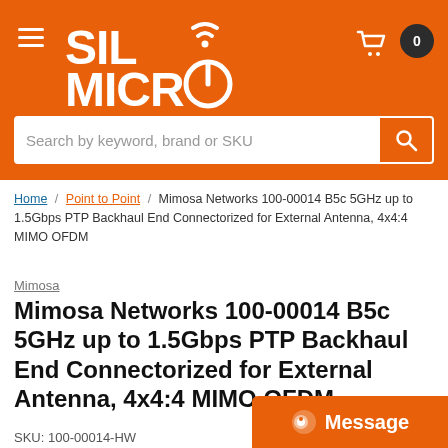SIL MICRO - Navigation header with logo, cart, and search bar
Home / Point to Point / Mimosa Networks 100-00014 B5c 5GHz up to 1.5Gbps PTP Backhaul End Connectorized for External Antenna, 4x4:4 MIMO OFDM
Mimosa
Mimosa Networks 100-00014 B5c 5GHz up to 1.5Gbps PTP Backhaul End Connectorized for External Antenna, 4x4:4 MIMO OFDM
SKU: 100-00014-HW